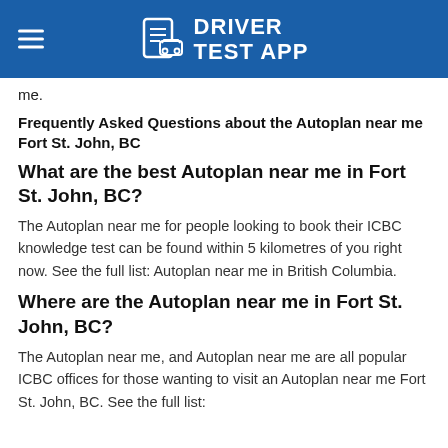DRIVER TEST APP
me.
Frequently Asked Questions about the Autoplan near me Fort St. John, BC
What are the best Autoplan near me in Fort St. John, BC?
The Autoplan near me for people looking to book their ICBC knowledge test can be found within 5 kilometres of you right now. See the full list: Autoplan near me in British Columbia.
Where are the Autoplan near me in Fort St. John, BC?
The Autoplan near me, and Autoplan near me are all popular ICBC offices for those wanting to visit an Autoplan near me Fort St. John, BC. See the full list: